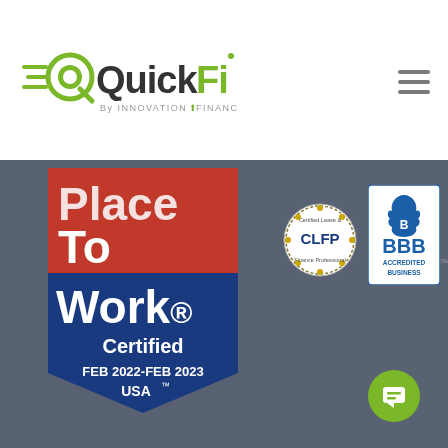[Figure (logo): QuickFi logo by Innovation Finance - green and dark grey wordmark with circular Q icon]
[Figure (other): Hamburger menu icon (three horizontal lines)]
[Figure (other): Great Place To Work Certified badge - red and blue shield shape, FEB 2022-FEB 2023, USA]
[Figure (logo): CLFP - Certified Lease & Finance Professional circular badge]
[Figure (logo): ELFA - Equipment Leasing and Finance Association logo]
[Figure (logo): BBB Accredited Business logo]
[Figure (other): Green circular chat/message button in bottom right corner]